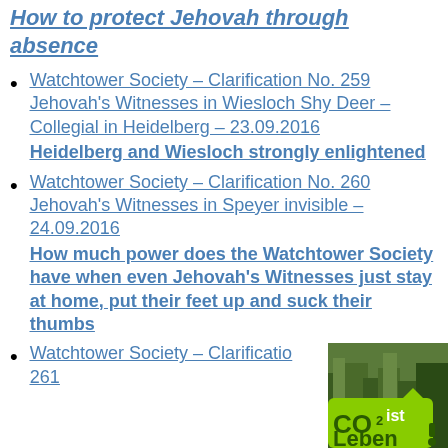How to protect Jehovah through absence
Watchtower Society – Clarification No. 259
Jehovah's Witnesses in Wiesloch Shy Deer – Collegial in Heidelberg – 23.09.2016
Heidelberg and Wiesloch strongly enlightened
Watchtower Society – Clarification No. 260
Jehovah's Witnesses in Speyer invisible – 24.09.2016
How much power does the Watchtower Society have when even Jehovah's Witnesses just stay at home, put their feet up and suck their thumbs
Watchtower Society – Clarification No. 261
[Figure (logo): CO2 ist Leben green badge/logo in bottom right corner]